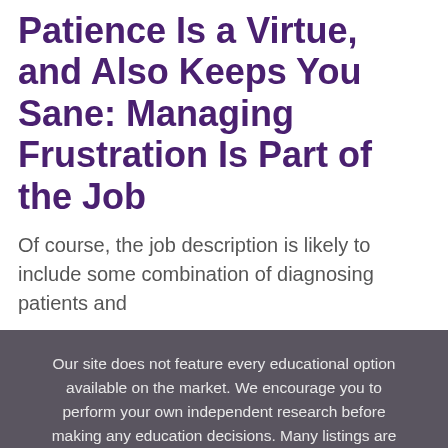Patience Is a Virtue, and Also Keeps You Sane: Managing Frustration Is Part of the Job
Of course, the job description is likely to include some combination of diagnosing patients and
Our site does not feature every educational option available on the market. We encourage you to perform your own independent research before making any education decisions. Many listings are from partners who compensate us, which may influence which programs we write about. Learn more about us.
Home | Contact Us | Privacy Policy | Terms of Use
©2022 https://www.speechpathologygraduateprograms.org All Rights Reserved.